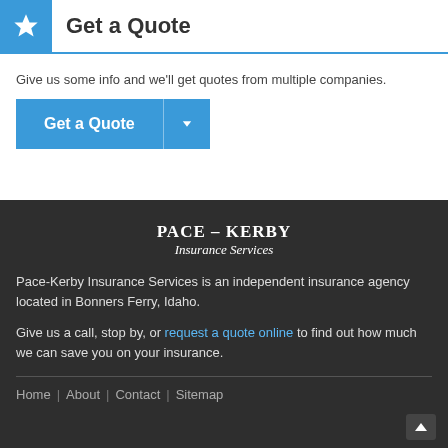Get a Quote
Give us some info and we'll get quotes from multiple companies.
[Figure (screenshot): Blue 'Get a Quote' button with dropdown arrow]
[Figure (logo): PACE - KERBY Insurance Services logo]
Pace-Kerby Insurance Services is an independent insurance agency located in Bonners Ferry, Idaho.
Give us a call, stop by, or request a quote online to find out how much we can save you on your insurance.
Home | About | Contact | Sitemap